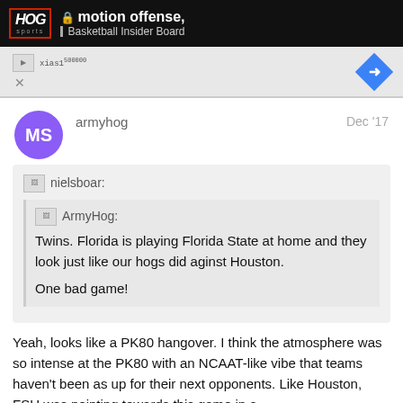motion offense, Basketball Insider Board
[Figure (screenshot): Advertisement banner with play button icon and blue diamond arrow icon]
armyhog
Dec '17
nielsboar:
ArmyHog:
Twins. Florida is playing Florida State at home and they look just like our hogs did aginst Houston.
One bad game!
Yeah, looks like a PK80 hangover. I think the atmosphere was so intense at the PK80 with an NCAAT-like vibe that teams haven't been as up for their next opponents. Like Houston, FSU was pointing towards this game in a